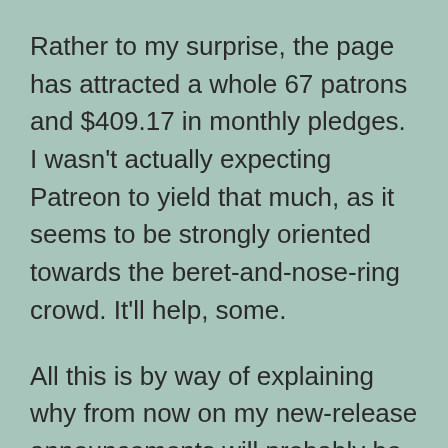Rather to my surprise, the page has attracted a whole 67 patrons and $409.17 in monthly pledges. I wasn't actually expecting Patreon to yield that much, as it seems to be strongly oriented towards the beret-and-nose-ring crowd. It'll help, some.
All this is by way of explaining why from now on my new-release announcements will probably be going to Patreon, mostly, rather than here on the blog. They're the closest I have to the kind of artistic content releases the Patreon base seems to expect, and do seem